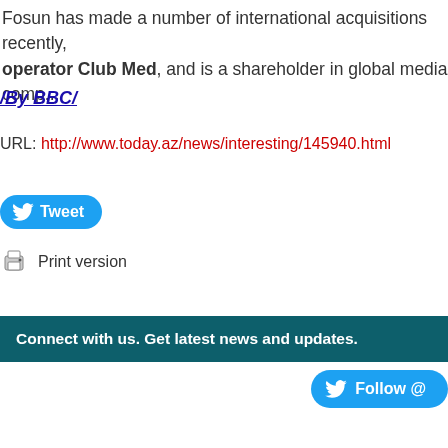Fosun has made a number of international acquisitions recently, including French holiday operator Club Med, and is a shareholder in global media comp...
/By BBC/
URL: http://www.today.az/news/interesting/145940.html
[Figure (other): Tweet button - blue rounded button with Twitter bird icon and 'Tweet' text]
[Figure (other): Print version link with printer icon]
Connect with us. Get latest news and updates.
[Figure (other): Follow @ button - blue rounded button with Twitter bird icon and 'Follow @' text]